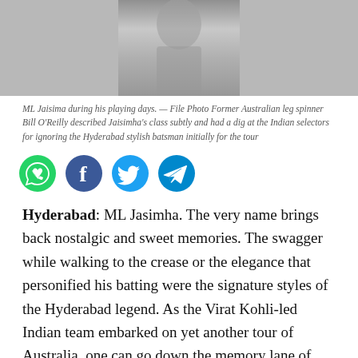[Figure (photo): Black and white photograph of ML Jaisimha during his playing days]
ML Jaisima during his playing days. — File Photo Former Australian leg spinner Bill O'Reilly described Jaisimha's class subtly and had a dig at the Indian selectors for ignoring the Hyderabad stylish batsman initially for the tour
[Figure (other): Social media sharing icons: WhatsApp, Facebook, Twitter, Telegram]
Hyderabad: ML Jasimha. The very name brings back nostalgic and sweet memories. The swagger while walking to the crease or the elegance that personified his batting were the signature styles of the Hyderabad legend. As the Virat Kohli-led Indian team embarked on yet another tour of Australia, one can go down the memory lane of Jaisimha and his romance with Brisbane Test of 1968. Rejected by the selectors and then picked as